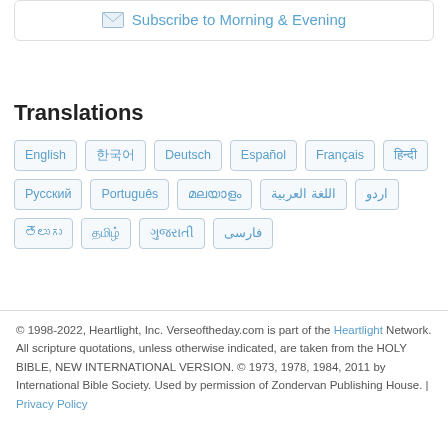[Figure (other): Subscribe to Morning & Evening email link with envelope icon]
Translations
English
한국어
Deutsch
Español
Français
हिन्दी
Русский
Português
മലയാളം
اللغة العربية
اردو
తెలుగు
தமிழ்
ગુજરાતી
فارسی
© 1998-2022, Heartlight, Inc. Verseoftheday.com is part of the Heartlight Network. All scripture quotations, unless otherwise indicated, are taken from the HOLY BIBLE, NEW INTERNATIONAL VERSION. © 1973, 1978, 1984, 2011 by International Bible Society. Used by permission of Zondervan Publishing House. | Privacy Policy